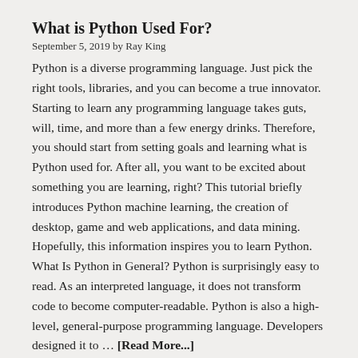What is Python Used For?
September 5, 2019 by Ray King
Python is a diverse programming language. Just pick the right tools, libraries, and you can become a true innovator. Starting to learn any programming language takes guts, will, time, and more than a few energy drinks. Therefore, you should start from setting goals and learning what is Python used for. After all, you want to be excited about something you are learning, right? This tutorial briefly introduces Python machine learning, the creation of desktop, game and web applications, and data mining. Hopefully, this information inspires you to learn Python. What Is Python in General? Python is surprisingly easy to read. As an interpreted language, it does not transform code to become computer-readable. Python is also a high-level, general-purpose programming language. Developers designed it to … [Read More...]
Cyber Security Jobs: Learn About The Cybersecurity Careers